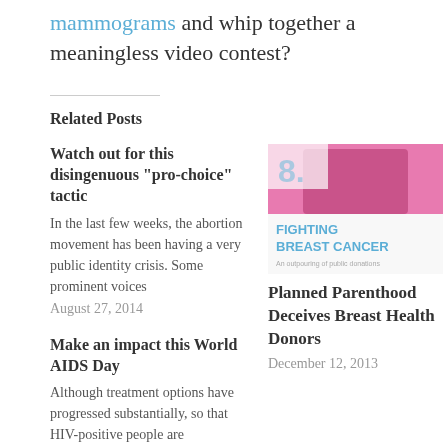mammograms and whip together a meaningless video contest?
Related Posts
Watch out for this disingenuous “pro-choice” tactic
In the last few weeks, the abortion movement has been having a very public identity crisis. Some prominent voices
August 27, 2014
[Figure (photo): Image promoting 'Fighting Breast Cancer - An outpouring of public donations' with number 8 and a person in pink athletic wear]
Planned Parenthood Deceives Breast Health Donors
December 12, 2013
Make an impact this World AIDS Day
Although treatment options have progressed substantially, so that HIV-positive people are